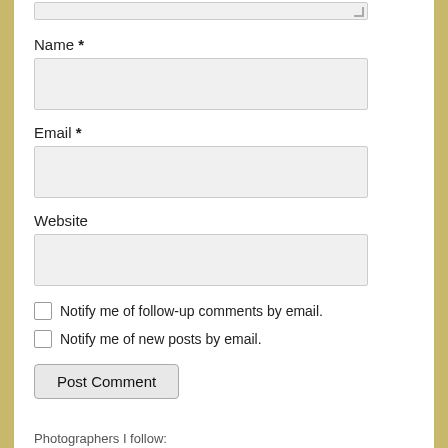Name *
Email *
Website
Notify me of follow-up comments by email.
Notify me of new posts by email.
Post Comment
Photographers I follow:
Kris Koller
No Itinerary
Photofacus